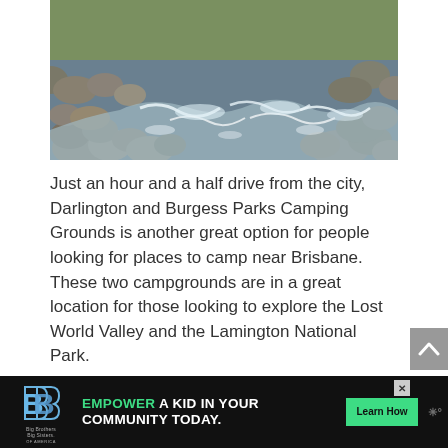[Figure (photo): Rocky stream or river with rushing white water flowing between and over large boulders and rocks, with green vegetation visible in the background. Nature/outdoor scene near Brisbane, Australia.]
Just an hour and a half drive from the city, Darlington and Burgess Parks Camping Grounds is another great option for people looking for places to camp near Brisbane. These two campgrounds are in a great location for those looking to explore the Lost World Valley and the Lamington National Park.
Non powered campsites (no powered sites available)...